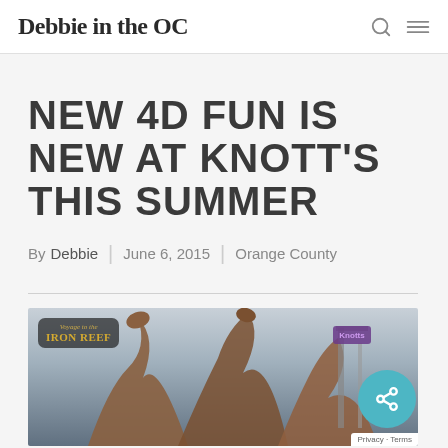Debbie in the OC
NEW 4D FUN IS NEW AT KNOTT'S THIS SUMMER
By Debbie | June 6, 2015 | Orange County
[Figure (photo): Promotional image for Voyage to the Iron Reef ride at Knott's Berry Farm, showing giant octopus tentacles and ride structures against a dramatic sky, with the Iron Reef logo in the upper left corner and a share button overlay]